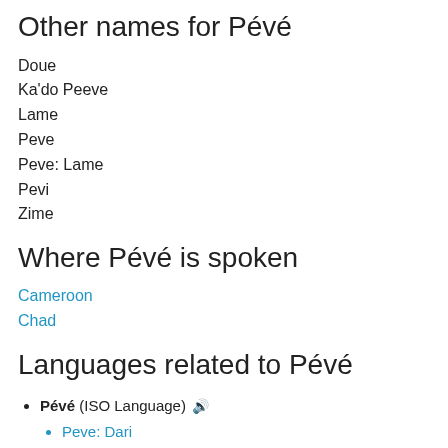Other names for Pévé
Doue
Ka'do Peeve
Lame
Peve
Peve: Lame
Pevi
Zime
Where Pévé is spoken
Cameroon
Chad
Languages related to Pévé
Pévé (ISO Language) 🔊
Peve: Dari